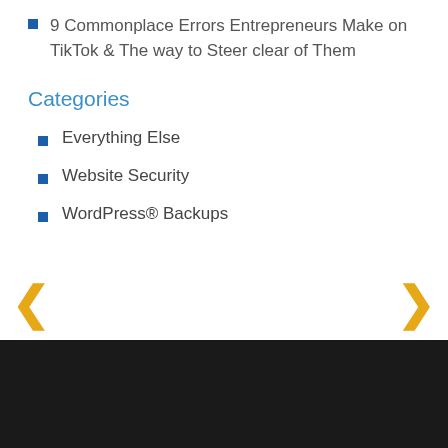9 Commonplace Errors Entrepreneurs Make on TikTok & The way to Steer clear of Them
Categories
Everything Else
Website Security
WordPress® Backups
HOME   PACKAGES & PRICING   PARTNERS?   WP NEWS   TERMS   PRIVACY POLICY   SUPPORT   LOGOUT